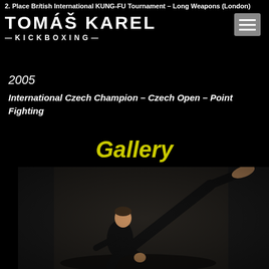2. Place British International KUNG-FU Tournament – Long Weapons (London)
TOMÁŠ KAREL — KICKBOXING —
2005
International Czech Champion – Czech Open – Point Fighting
Gallery
[Figure (photo): Kickboxer performing a high kick in dark outfit against a dark studio background]